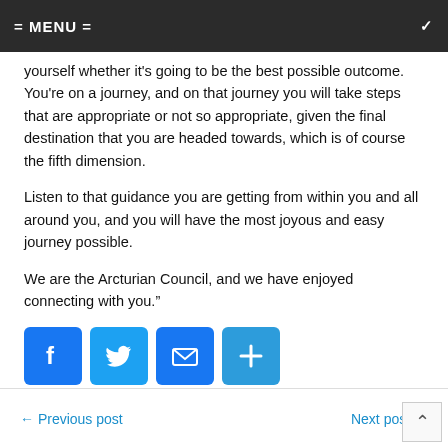= MENU =
yourself whether it's going to be the best possible outcome. You're on a journey, and on that journey you will take steps that are appropriate or not so appropriate, given the final destination that you are headed towards, which is of course the fifth dimension.
Listen to that guidance you are getting from within you and all around you, and you will have the most joyous and easy journey possible.
We are the Arcturian Council, and we have enjoyed connecting with you."
[Figure (infographic): Four social sharing icon buttons: Facebook (blue), Twitter (light blue), Email (blue envelope), Share/Add (blue plus)]
← Previous post    Next post →